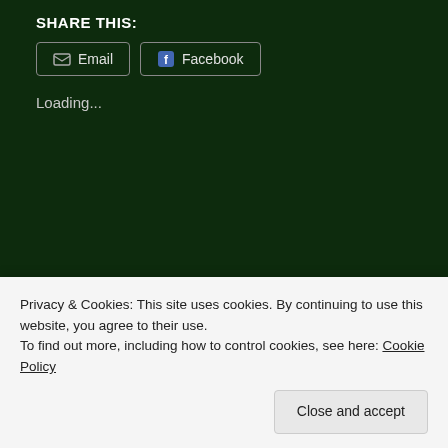SHARE THIS:
Email | Facebook (share buttons)
Loading...
Posted in Adults with Autism, ASD, Asperger's, Autism, autism and relationships, autism community, autism spectrum disorder, Farmer's markets, friendship, housing and autism, housing choice, inclusion, Living independently, Support workers
13 Comments
Tagged ASD, autism, autism
Privacy & Cookies: This site uses cookies. By continuing to use this website, you agree to their use. To find out more, including how to control cookies, see here: Cookie Policy
Close and accept